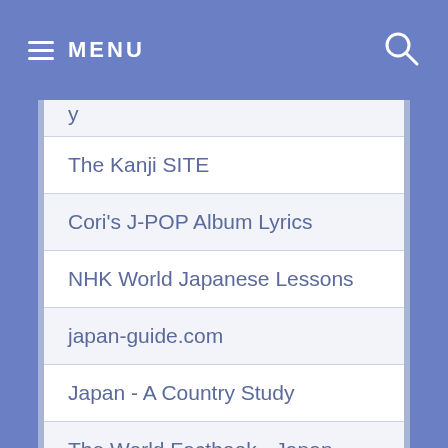≡ MENU
(partial, cut off at top)
The Kanji SITE
Cori's J-POP Album Lyrics
NHK World Japanese Lessons
japan-guide.com
Japan - A Country Study
The World Factbook - Japan
Look Up Kanji by Radical
Charles Kelly's Online Japanese Language Study Materials
I use cookies to ensure that you get the best experience on the site. If you continue to use this site I will assume that you are OK with it.
OK